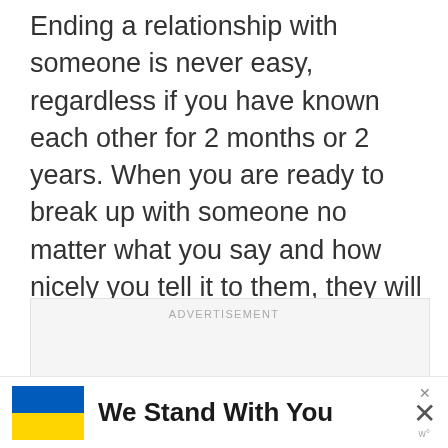Ending a relationship with someone is never easy, regardless if you have known each other for 2 months or 2 years. When you are ready to break up with someone no matter what you say and how nicely you tell it to them, they will still feel rejected by you.
[Figure (other): Advertisement placeholder box with 'ADVERTISEMENT' label in light gray text, empty content area with light gray background]
[Figure (infographic): Banner ad with Ukrainian flag (blue and yellow horizontal stripes) on the left, bold text 'We Stand With You' in the center, close/dismiss icons (small x and large X) on the right, and a 'w' wordmark below the X]